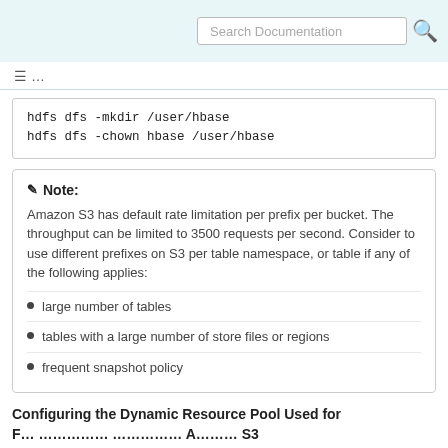Search Documentation
≡ ...
hdfs dfs -mkdir /user/hbase
hdfs dfs -chown hbase /user/hbase
Note: Amazon S3 has default rate limitation per prefix per bucket. The throughput can be limited to 3500 requests per second. Consider to use different prefixes on S3 per table namespace, or table if any of the following applies:
large number of tables
tables with a large number of store files or regions
frequent snapshot policy
Configuring the Dynamic Resource Pool Used for...